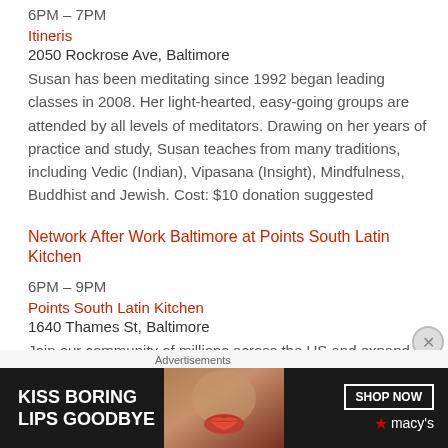6PM – 7PM
Itineris
2050 Rockrose Ave, Baltimore
Susan has been meditating since 1992 began leading classes in 2008. Her light-hearted, easy-going groups are attended by all levels of meditators. Drawing on her years of practice and study, Susan teaches from many traditions, including Vedic (Indian), Vipasana (Insight), Mindfulness, Buddhist and Jewish. Cost: $10 donation suggested
Network After Work Baltimore at Points South Latin Kitchen
6PM – 9PM
Points South Latin Kitchen
1640 Thames St, Baltimore
Join our community of millions across the US and expand your network at our next event. Meet executives and
Advertisements
[Figure (photo): Macy's advertisement banner: KISS BORING LIPS GOODBYE with a woman's face and lips, SHOP NOW button and Macy's logo]